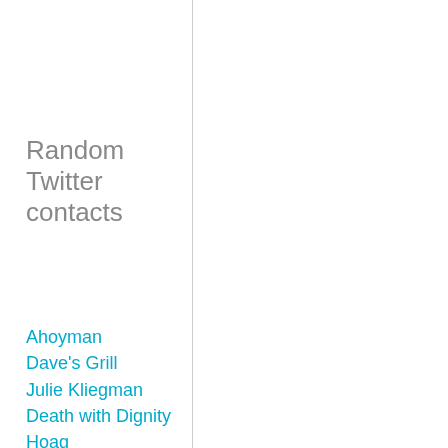Random Twitter contacts
Ahoyman
Dave's Grill
Julie Kliegman
Death with Dignity
Hoag
Gaskins
Perez
Santana
PRI's Global Nation
Carol Fenton
olga🔒